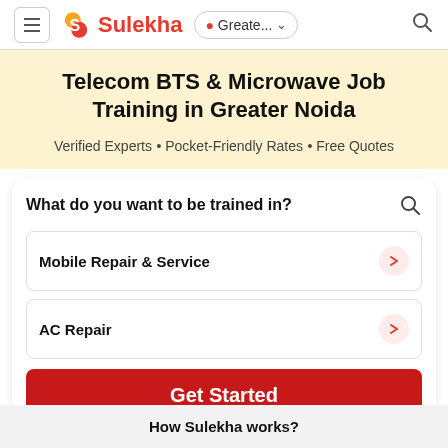Sulekha — Greate... (location) — Search
Telecom BTS & Microwave Job Training in Greater Noida
Verified Experts • Pocket-Friendly Rates • Free Quotes
What do you want to be trained in?
Mobile Repair & Service
AC Repair
Get Started
How Sulekha works?